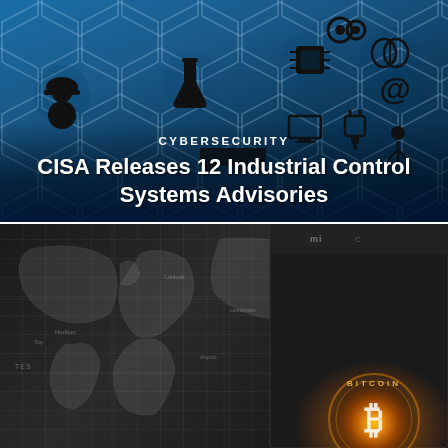[Figure (illustration): Blue hexagonal grid background with black silhouette icons representing industrial control systems, cybersecurity, engineering, AI, networking, and other technology domains. Icons include a construction worker, laboratory flask, microchip, gears, human brain, person figure, arrow/network symbols, truck, and @ symbol.]
CYBERSECURITY
CISA Releases 12 Industrial Control Systems Advisories
[Figure (photo): Dark photograph showing a world map in the background and a smartphone (Xiaomi) in the foreground displaying a glowing Bitcoin symbol with orange/gold radial light effect.]